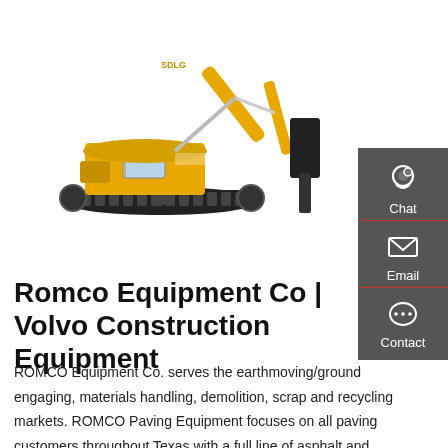[Figure (photo): Yellow heavy excavator with hydraulic hammer attachment on white background]
Romco Equipment Co | Volvo Construction Equipment
ROMCO Equipment Co. serves the earthmoving/ground engaging, materials handling, demolition, scrap and recycling markets. ROMCO Paving Equipment focuses on all paving customers throughout Texas with a full line of asphalt and concrete products. ROMCO Power Systems (RPS)